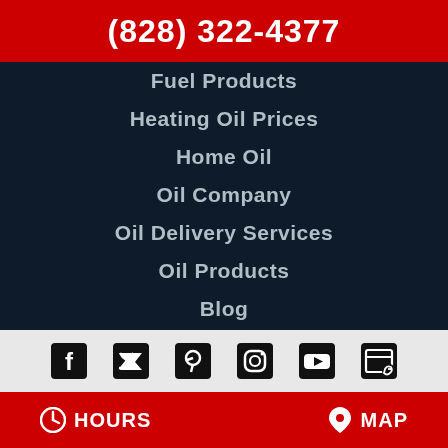(828) 322-4377
Fuel Products
Heating Oil Prices
Home Oil
Oil Company
Oil Delivery Services
Oil Products
Blog
[Figure (infographic): Social media icons row: Facebook, Twitter, Pinterest, Instagram, YouTube, Google Reviews]
HOURS   MAP